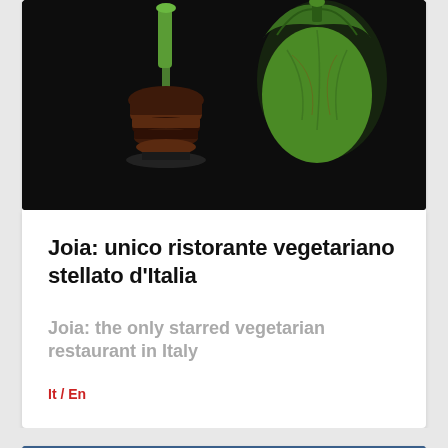[Figure (photo): Dark background food photography showing two gourmet vegetarian dishes: left side shows a stacked layered appetizer with dark rounds and a green stem/leek on top; right side shows a green-leafed wrapped fruit or fig]
Joia: unico ristorante vegetariano stellato d'Italia
Joia: the only starred vegetarian restaurant in Italy
It / En
[Figure (photo): Close-up photo of colorful prickly pear cactus fruits (fichi d'india) on a blue background, showing yellow and pink/red fruits, some cut open to reveal bright red interior flesh with seeds. A red GOURMET badge overlay is in the top-left corner.]